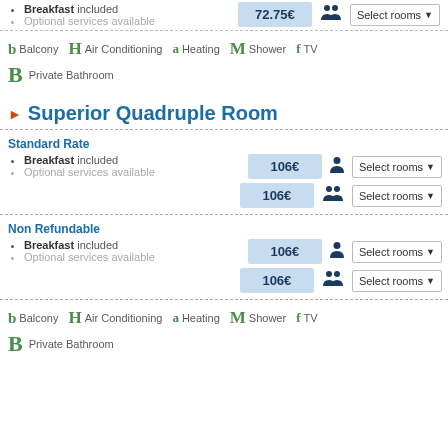Breakfast included
Optional services available
72.75€ — Select rooms (two persons)
Amenities: b Balcony H Air Conditioning a Heating M Shower f TV
B Private Bathroom
Superior Quadruple Room
Standard Rate
Breakfast included
Optional services available
106€ Select rooms (one person); 106€ Select rooms (two persons)
Non Refundable
Breakfast included
Optional services available
106€ Select rooms (one person); 106€ Select rooms (two persons)
Amenities: b Balcony H Air Conditioning a Heating M Shower f TV
B Private Bathroom